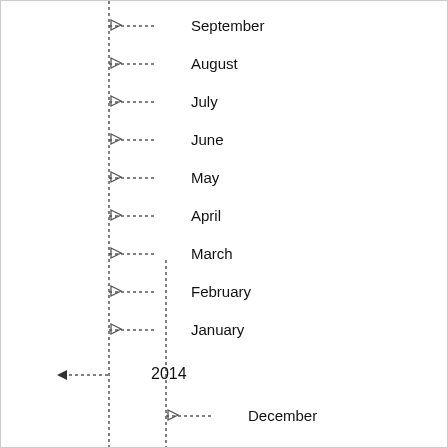September
August
July
June
May
April
March
February
January
2014
December
November
October
September
August
July
June